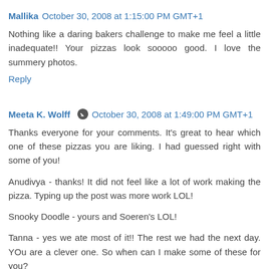Mallika  October 30, 2008 at 1:15:00 PM GMT+1
Nothing like a daring bakers challenge to make me feel a little inadequate!! Your pizzas look sooooo good. I love the summery photos.
Reply
Meeta K. Wolff  October 30, 2008 at 1:49:00 PM GMT+1
Thanks everyone for your comments. It's great to hear which one of these pizzas you are liking. I had guessed right with some of you!
Anudivya - thanks! It did not feel like a lot of work making the pizza. Typing up the post was more work LOL!
Snooky Doodle - yours and Soeren's LOL!
Tanna - yes we ate most of it!! The rest we had the next day. YOu are a clever one. So when can I make some of these for you?